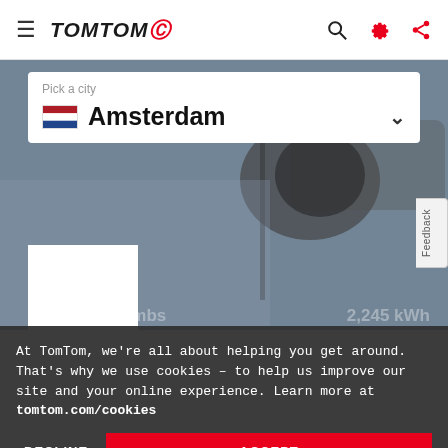TomTom — navigation bar with hamburger menu, TomTom logo, search, settings, and share icons
[Figure (screenshot): City traffic background photo — blurred view from inside a car]
Pick a city
Amsterdam
At TomTom, we're all about helping you get around. That's why we use cookies – to help us improve our site and your online experience. Learn more at tomtom.com/cookies
DECLINE
ACCEPT